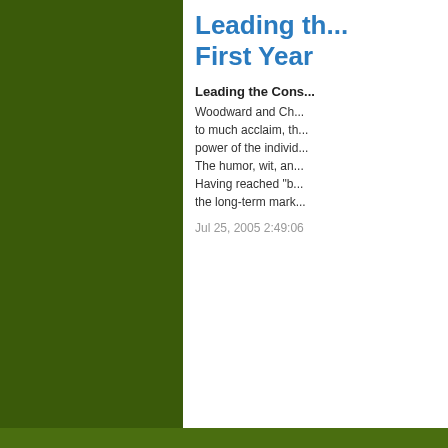Leading th... First Year
Leading the Cons...
Woodward and Ch... to much acclaim, th... power of the individ... The humor, wit, an... Having reached "b... the long-term mark...
Jul 25, 2005 2:49:06
Com...
« Previous